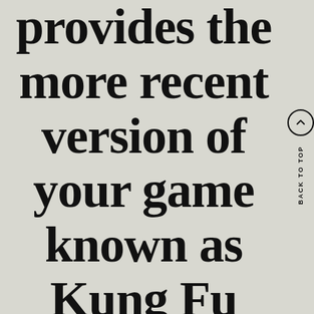provides the more recent version of your game known as Kung Fu Grupo
BACK TO TOP